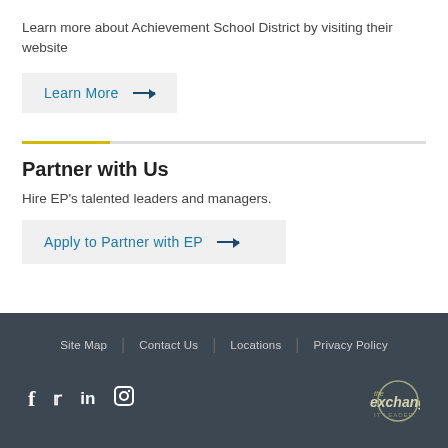Learn more about Achievement School District by visiting their website
Learn More →
Partner with Us
Hire EP's talented leaders and managers.
Apply to Partner with EP →
Site Map | Contact Us | Locations | Privacy Policy